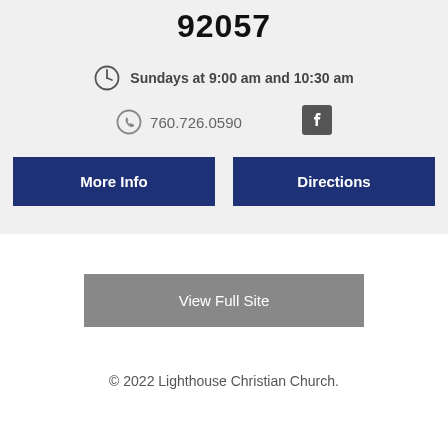92057
Sundays at 9:00 am and 10:30 am
760.726.0590
More Info
Directions
View Full Site
© 2022 Lighthouse Christian Church.